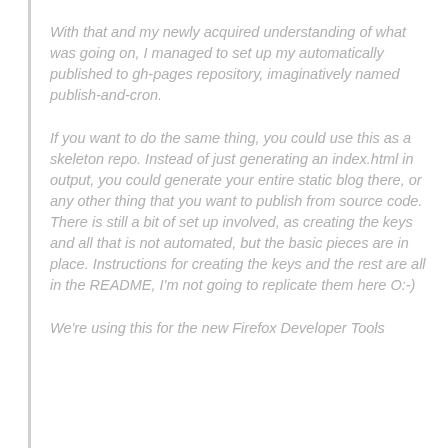With that and my newly acquired understanding of what was going on, I managed to set up my automatically published to gh-pages repository, imaginatively named publish-and-cron.
If you want to do the same thing, you could use this as a skeleton repo. Instead of just generating an index.html in output, you could generate your entire static blog there, or any other thing that you want to publish from source code. There is still a bit of set up involved, as creating the keys and all that is not automated, but the basic pieces are in place. Instructions for creating the keys and the rest are all in the README, I'm not going to replicate them here O:-)
We're using this for the new Firefox Developer Tools